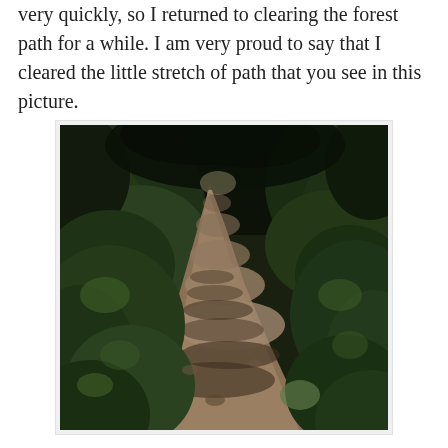very quickly, so I returned to clearing the forest path for a while. I am very proud to say that I cleared the little stretch of path that you see in this picture.
[Figure (photo): A narrow dirt forest path winding upward through dense green vegetation and dark foliage, with dappled light and shadow across the earthy ground.]